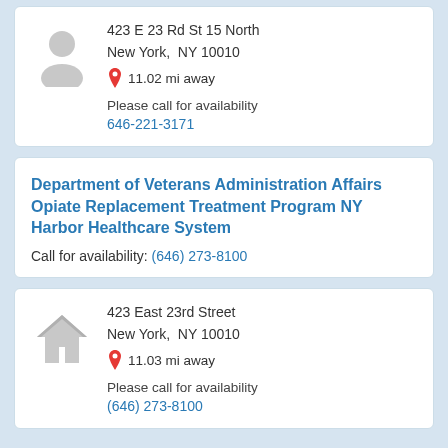423 E 23 Rd St 15 North
New York,  NY 10010
11.02 mi away
Please call for availability
646-221-3171
Department of Veterans Administration Affairs Opiate Replacement Treatment Program NY Harbor Healthcare System
Call for availability: (646) 273-8100
423 East 23rd Street
New York,  NY 10010
11.03 mi away
Please call for availability
(646) 273-8100